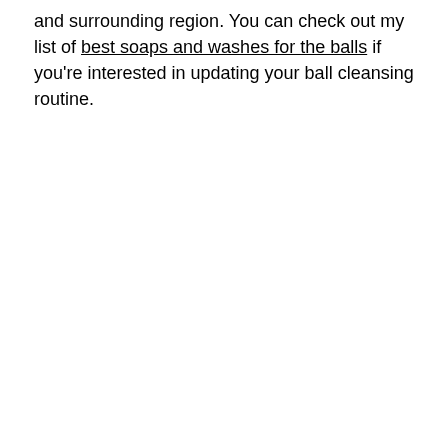and surrounding region. You can check out my list of best soaps and washes for the balls if you're interested in updating your ball cleansing routine.